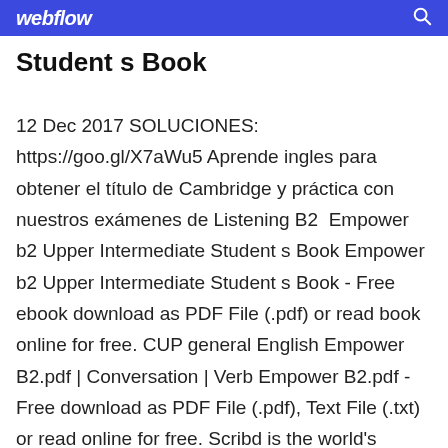webflow
Student s Book
12 Dec 2017 SOLUCIONES: https://goo.gl/X7aWu5 Aprende ingles para obtener el título de Cambridge y práctica con nuestros exámenes de Listening B2  Empower b2 Upper Intermediate Student s Book Empower b2 Upper Intermediate Student s Book - Free ebook download as PDF File (.pdf) or read book online for free. CUP general English Empower B2.pdf | Conversation | Verb Empower B2.pdf - Free download as PDF File (.pdf), Text File (.txt) or read online for free. Scribd is the world's largest social reading and publishing site. Search Search [PDF] Empower B2.pdf - Free Download PDF[PDF] In 2017...